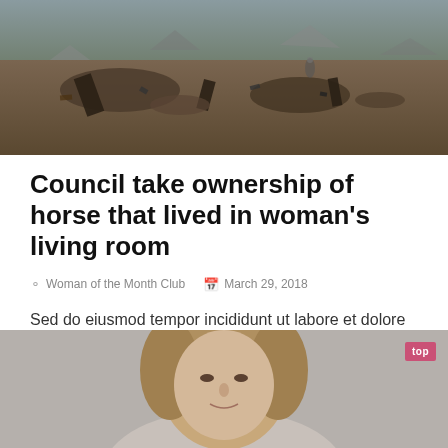[Figure (photo): Aerial view of debris and wreckage scattered on brown ground, disaster/crash scene]
Council take ownership of horse that lived in woman's living room
Woman of the Month Club   March 29, 2018
Sed do eiusmod tempor incididunt ut labore et dolore magna aliqua. Ut enim ad minim veniam, quis nostrud exercitation ullamco laboris nisi ut aliquip ex...
View More »
[Figure (photo): Close-up portrait of a person with light brown hair against a gray background, partially visible]